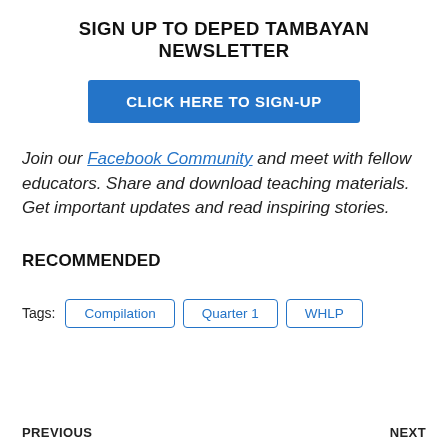SIGN UP TO DEPED TAMBAYAN NEWSLETTER
CLICK HERE TO SIGN-UP
Join our Facebook Community and meet with fellow educators. Share and download teaching materials. Get important updates and read inspiring stories.
RECOMMENDED
Tags: Compilation  Quarter 1  WHLP
PREVIOUS    NEXT